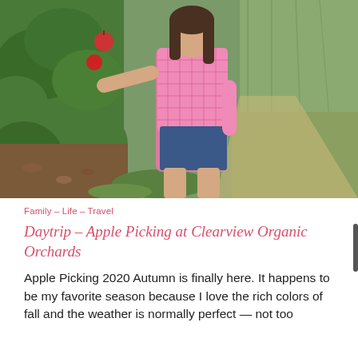[Figure (photo): A young woman in a pink gingham shirt and denim shorts stands in an apple orchard, holding up a red apple toward a tree branch. The orchard has green grass paths between rows of trees.]
Family – Life – Travel
Daytrip – Apple Picking at Clearview Organic Orchards
Apple Picking 2020 Autumn is finally here. It happens to be my favorite season because I love the rich colors of fall and the weather is normally perfect — not too